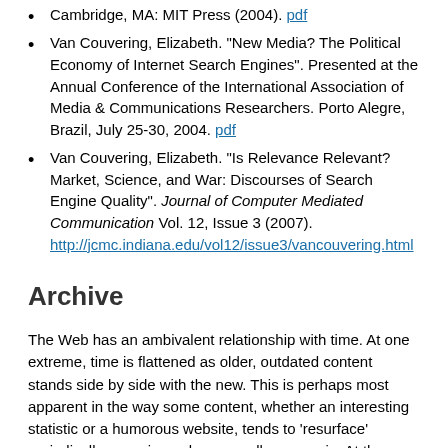Cambridge, MA: MIT Press (2004). pdf
Van Couvering, Elizabeth. "New Media? The Political Economy of Internet Search Engines". Presented at the Annual Conference of the International Association of Media & Communications Researchers. Porto Alegre, Brazil, July 25-30, 2004. pdf
Van Couvering, Elizabeth. "Is Relevance Relevant? Market, Science, and War: Discourses of Search Engine Quality". Journal of Computer Mediated Communication Vol. 12, Issue 3 (2007). http://jcmc.indiana.edu/vol12/issue3/vancouvering.html
Archive
The Web has an ambivalent relationship with time. At one extreme, time is flattened as older, outdated content stands side by side with the new. This is perhaps most apparent in the way some content, whether an interesting statistic or a humorous website, tends to 'resurface' periodically, experienced as new all over again. At the other extreme, there is a drive to be as up-to-date as possible: as epitomized by blogs and RSS feeds. Content producers and consumers may